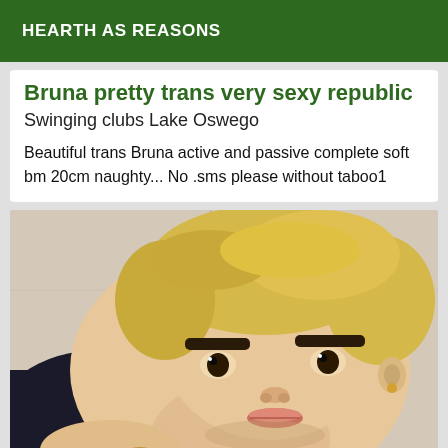HEARTH AS REASONS
Bruna pretty trans very sexy republic
Swinging clubs Lake Oswego
Beautiful trans Bruna active and passive complete soft bm 20cm naughty... No .sms please without taboo1
[Figure (photo): Close-up selfie photo of a person with short blonde hair, dark eyebrows, wearing a dark top, posing with hand near chest, gold bracelet visible.]